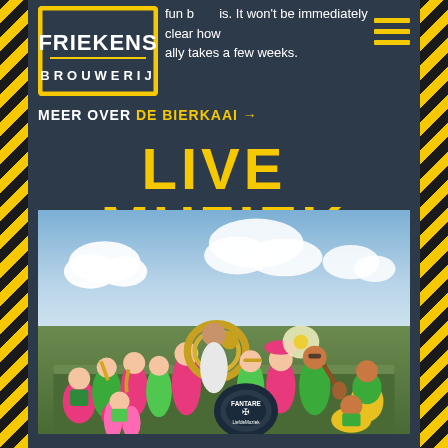fun b... is. It won’t be immediately clear how ...ally takes a few weeks.
[Figure (logo): Friekens Brouwerij logo - yellow square outline with FRIEKENS text and BROUWERIJ below]
MEER OVER DE BIERKAAI →
LIVE MUZIEK
[Figure (photo): A large group of colorful musicians (brass band/fanfare) dressed in bright pink, green, yellow outfits, posing in an open field under a blue sky with clouds. They are playing various instruments including tuba, saxophone, trumpet. A bass drum in the center reads 'Fantare LiefdeMuziek'.]